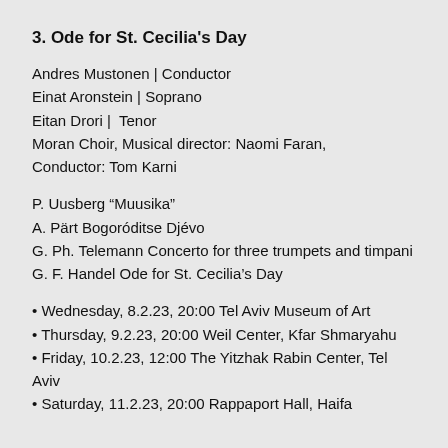3. Ode for St. Cecilia's Day
Andres Mustonen | Conductor
Einat Aronstein | Soprano
Eitan Drori | Tenor
Moran Choir, Musical director: Naomi Faran,
Conductor: Tom Karni
P. Uusberg “Muusika”
A. Pärt Bogoróditse Djévo
G. Ph. Telemann Concerto for three trumpets and timpani
G. F. Handel Ode for St. Cecilia’s Day
• Wednesday, 8.2.23, 20:00 Tel Aviv Museum of Art
• Thursday, 9.2.23, 20:00 Weil Center, Kfar Shmaryahu
• Friday, 10.2.23, 12:00 The Yitzhak Rabin Center, Tel Aviv
• Saturday, 11.2.23, 20:00 Rappaport Hall, Haifa